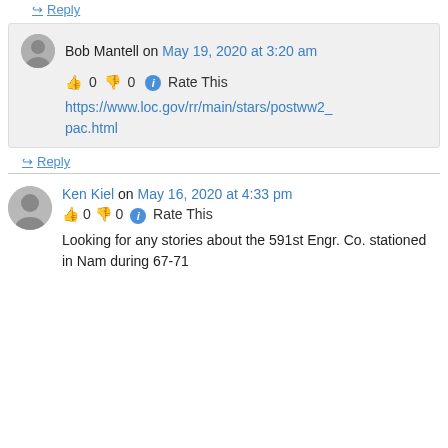↪ Reply
Bob Mantell on May 19, 2020 at 3:20 am
👍 0 👎 0 ℹ Rate This
https://www.loc.gov/rr/main/stars/postww2_pac.html
↪ Reply
Ken Kiel on May 16, 2020 at 4:33 pm
👍 0 👎 0 ℹ Rate This
Looking for any stories about the 591st Engr. Co. stationed in Nam during 67-71